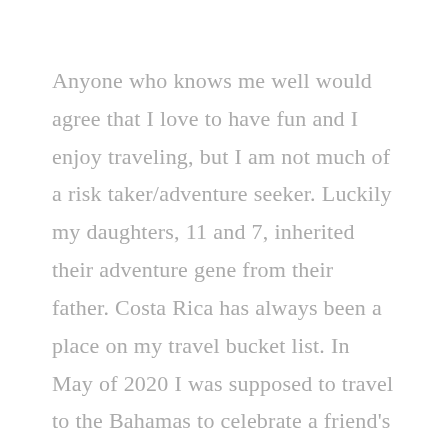Anyone who knows me well would agree that I love to have fun and I enjoy traveling, but I am not much of a risk taker/adventure seeker. Luckily my daughters, 11 and 7, inherited their adventure gene from their father. Costa Rica has always been a place on my travel bucket list. In May of 2020 I was supposed to travel to the Bahamas to celebrate a friend's milestone 40th birthday. However, COVID came without warning and our travel plans were canceled leaving us with travel credit to use by end of 2021. With the credits to use visiting this following year...